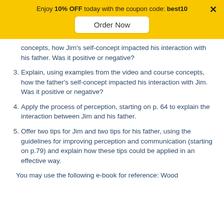Enjoy 10% OFF today with the coupon code: best10
concepts, how Jim's self-concept impacted his interaction with his father. Was it positive or negative?
3. Explain, using examples from the video and course concepts, how the father's self-concept impacted his interaction with Jim. Was it positive or negative?
4. Apply the process of perception, starting on p. 64 to explain the interaction between Jim and his father.
5. Offer two tips for Jim and two tips for his father, using the guidelines for improving perception and communication (starting on p.79) and explain how these tips could be applied in an effective way.
You may use the following e-book for reference: Wood